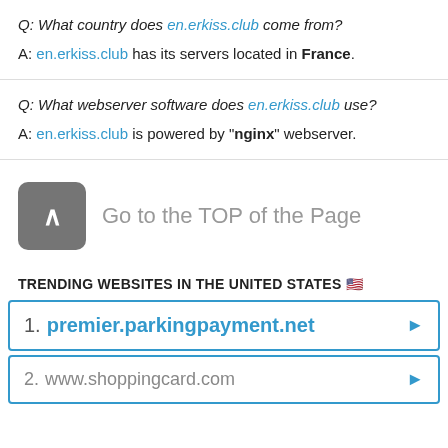Q: What country does en.erkiss.club come from?
A: en.erkiss.club has its servers located in France.
Q: What webserver software does en.erkiss.club use?
A: en.erkiss.club is powered by "nginx" webserver.
Go to the TOP of the Page
TRENDING WEBSITES IN THE UNITED STATES 🇺🇸
1. premier.parkingpayment.net
2. www.shoppingcard.com